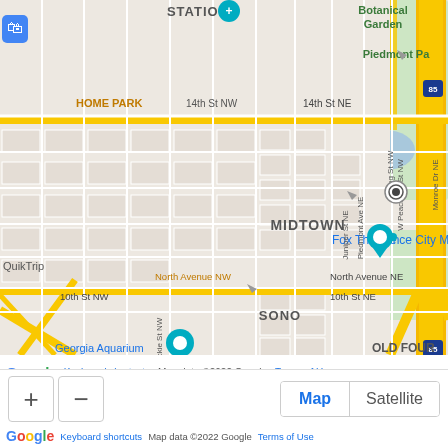[Figure (map): Google Maps screenshot showing Midtown Atlanta area including Georgia Tech Campus, Fox Theatre, Ponce City Market, Botanical Garden, Piedmont Park, and surrounding streets. Interstate 85 runs vertically through the center. Map controls show zoom buttons (+ and -), Map/Satellite toggle, Google logo, Keyboard shortcuts, and Map data ©2022 Google Terms of Use attribution at bottom.]